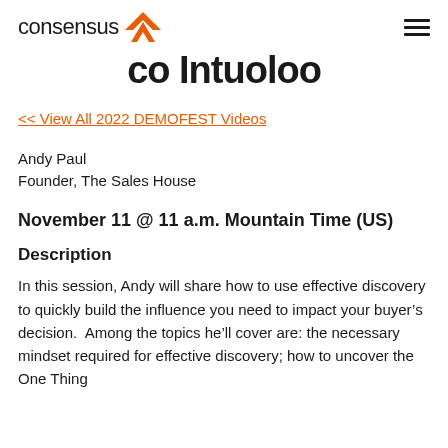consensus [logo] [hamburger menu]
co Intuoloo
<< View All 2022 DEMOFEST Videos
Andy Paul
Founder, The Sales House
November 11 @ 11 a.m. Mountain Time (US)
Description
In this session, Andy will share how to use effective discovery to quickly build the influence you need to impact your buyer's decision.  Among the topics he'll cover are: the necessary mindset required for effective discovery; how to uncover the One Thing